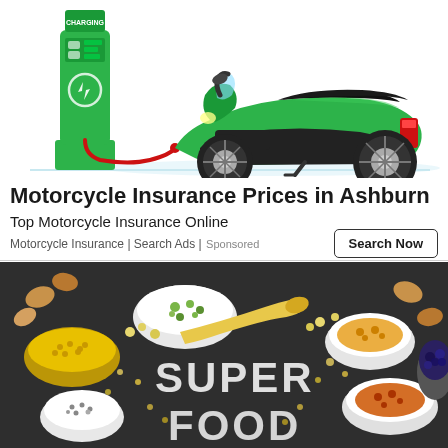[Figure (illustration): Illustration of a green electric scooter plugged into a green charging station with a red cable. The charging station has a lightning bolt symbol and displays 'CHARGING' at the top.]
Motorcycle Insurance Prices in Ashburn
Top Motorcycle Insurance Online
Motorcycle Insurance | Search Ads | Sponsored
[Figure (photo): Photo of various superfoods in bowls and spoons arranged on a dark chalkboard surface. The text 'SUPER FOOD' is written in chalk. Items include nuts, seeds, spices, berries, and grains in white ceramic bowls.]